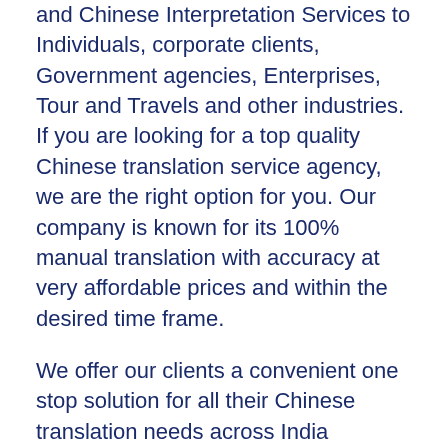and Chinese Interpretation Services to Individuals, corporate clients, Government agencies, Enterprises, Tour and Travels and other industries. If you are looking for a top quality Chinese translation service agency, we are the right option for you. Our company is known for its 100% manual translation with accuracy at very affordable prices and within the desired time frame.
We offer our clients a convenient one stop solution for all their Chinese translation needs across India including Meerut covering all types of documents such as: Chinese Translator in Meerut for Financial documents, Technical documents, User manuals, Legal documents, Medical records, Residential Permits, Degrees, Brochures, Marriage certificate, Birth Certificate, Driving and other License, Passport and many others.
Guided by the exchange priority of information between two cultures, the Chinese translation services in Meerut